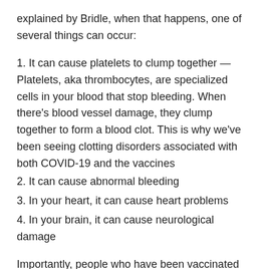explained by Bridle, when that happens, one of several things can occur:
1. It can cause platelets to clump together — Platelets, aka thrombocytes, are specialized cells in your blood that stop bleeding. When there's blood vessel damage, they clump together to form a blood clot. This is why we've been seeing clotting disorders associated with both COVID-19 and the vaccines
2. It can cause abnormal bleeding
3. In your heart, it can cause heart problems
4. In your brain, it can cause neurological damage
Importantly, people who have been vaccinated against COVID-19 absolutely should not donate blood, seeing how the vaccine and the spike protein are both transferred. In fragile patients receiving the blood, the damage could be lethal.
Breastfeeding women also need to know that both the